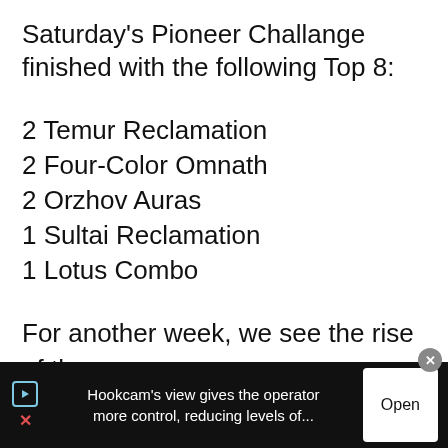Saturday's Pioneer Challange finished with the following Top 8:
2 Temur Reclamation
2 Four-Color Omnath
2 Orzhov Auras
1 Sultai Reclamation
1 Lotus Combo
For another week, we see the rise of the
[Figure (infographic): Advertisement banner at bottom of page. Black background with white text: "Hookcam's view gives the operator more control, reducing levels of..." with an Open button and ad icons on left side.]